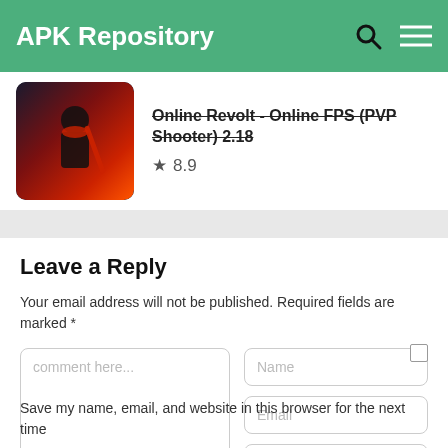APK Repository
Online Revolt - Online FPS (PVP Shooter) 2.18 ★ 8.9
Leave a Reply
Your email address will not be published. Required fields are marked *
comment here...
Name
Email
Website / url
Save my name, email, and website in this browser for the next time